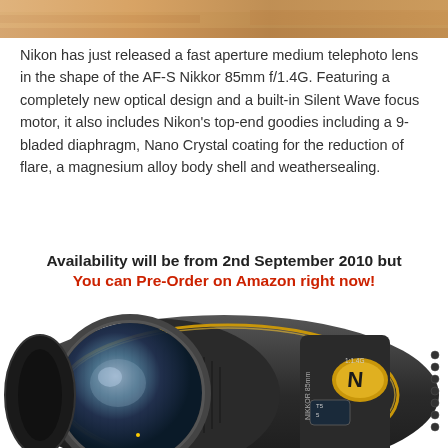[Figure (photo): Partial top image strip showing warm tones, partial view of a hand or object]
Nikon has just released a fast aperture medium telephoto lens in the shape of the AF-S Nikkor 85mm f/1.4G. Featuring a completely new optical design and a built-in Silent Wave focus motor, it also includes Nikon's top-end goodies including a 9-bladed diaphragm, Nano Crystal coating for the reduction of flare, a magnesium alloy body shell and weathersealing.
Availability will be from 2nd September 2010 but You can Pre-Order on Amazon right now!
[Figure (photo): Product photo of Nikon AF-S Nikkor 85mm f/1.4G lens, black, showing gold ring and Nano Crystal coating badge]